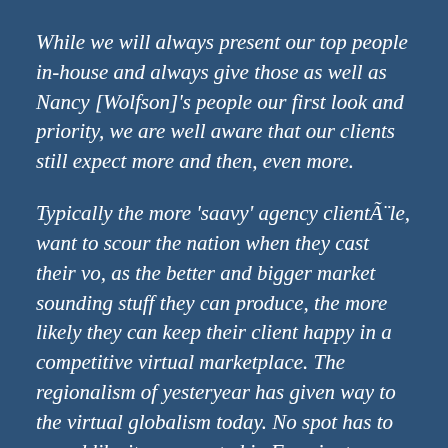While we will always present our top people in-house and always give those as well as Nancy [Wolfson]'s people our first look and priority, we are well aware that our clients still expect more and then, even more.
Typically the more 'saavy' agency clientÃ¨le, want to scour the nation when they cast their vo, as the better and bigger market sounding stuff they can produce, the more likely they can keep their client happy in a competitive virtual marketplace. The regionalism of yesteryear has given way to the virtual globalism today. No spot has to sound like it was created in Farmington, New Mexico ..they can all sound like they were produced in major markets, thanks to the open access to great talent and a